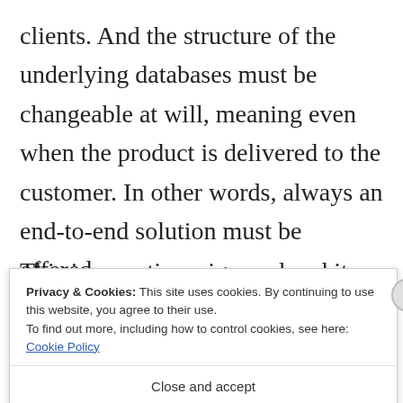clients. And the structure of the underlying databases must be changeable at will, meaning even when the product is delivered to the customer. In other words, always an end-to-end solution must be offered.
This is sometimes ignored and it
Privacy & Cookies: This site uses cookies. By continuing to use this website, you agree to their use.
To find out more, including how to control cookies, see here: Cookie Policy
Close and accept